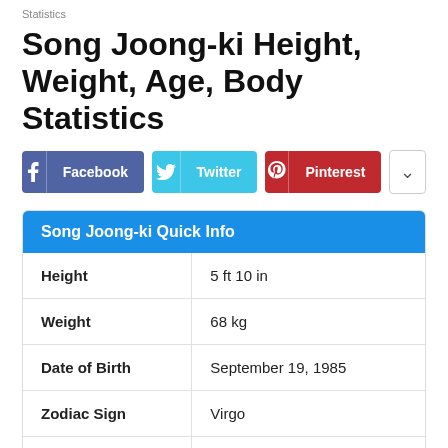Statistics
Song Joong-ki Height, Weight, Age, Body Statistics
[Figure (other): Social share buttons: Facebook, Twitter, Pinterest, and a dropdown more button]
| Song Joong-ki Quick Info |  |
| --- | --- |
| Height | 5 ft 10 in |
| Weight | 68 kg |
| Date of Birth | September 19, 1985 |
| Zodiac Sign | Virgo |
| Eye Color | Dark Brown |